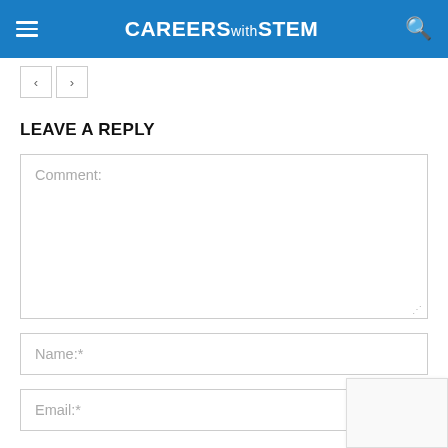CAREERS with STEM
LEAVE A REPLY
Comment:
Name:*
Email:*